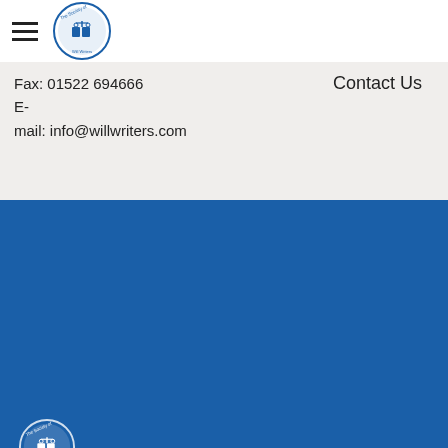[Figure (logo): The Society of Will Writers circular logo — top navigation bar]
Fax: 01522 694666
E-mail: info@willwriters.com
Contact Us
[Figure (logo): The Society of Will Writers circular logo — footer]
Copyright by The Society of Will Writers. All rights reserved. Registered in England and Wales. Company Number: 02918900.
This website uses cookies to improve your experience. We'll assume you're ok with this, but you can opt-out if you wish.
Cookie settings
ACCEPT